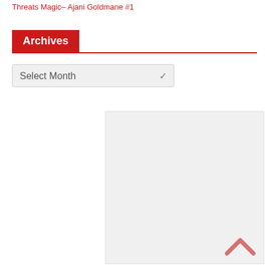Threats Magic– Ajani Goldmane #1
Archives
Select Month
[Figure (other): Light gray rectangular placeholder image area on the right side of the page]